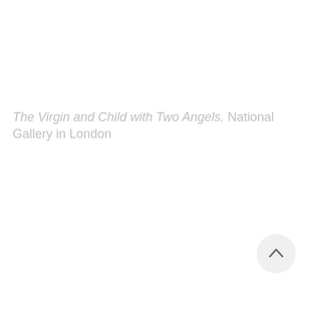The Virgin and Child with Two Angels. National Gallery in London
[Figure (other): A circular scroll-to-top button with an upward-pointing chevron arrow, positioned in the bottom-right area of the page.]